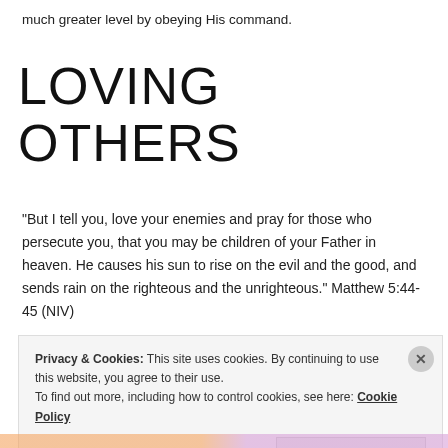much greater level by obeying His command.
LOVING OTHERS
“But I tell you, love your enemies and pray for those who persecute you, that you may be children of your Father in heaven. He causes his sun to rise on the evil and the good, and sends rain on the righteous and the unrighteous.” Matthew 5:44-45 (NIV)
Privacy & Cookies: This site uses cookies. By continuing to use this website, you agree to their use. To find out more, including how to control cookies, see here: Cookie Policy
Close and accept